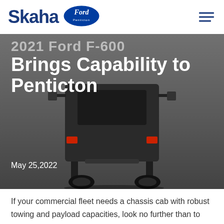Skaha Ford Penticton
[Figure (photo): Rear view of a 2021 Ford F-600 chassis cab truck on a grey background, overlaid with white text title and date]
2021 Ford F-600 Brings Capability to Penticton
May 25,2022
If your commercial fleet needs a chassis cab with robust towing and payload capacities, look no further than to